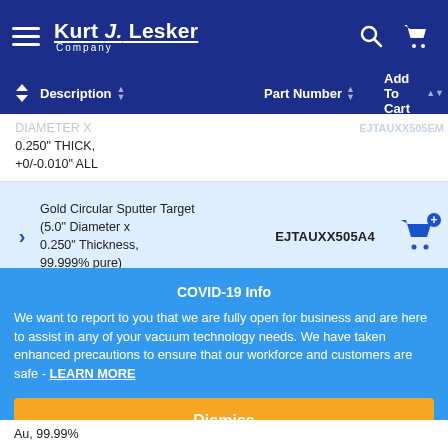Kurt J. Lesker Company
|  | Description | Part Number | Add To Cart |
| --- | --- | --- | --- |
|  | DIAMETER X 0.250" THICK, +0/-0.010" ALL |  |  |
| > | Gold Circular Sputter Target (5.0" Diameter x 0.250" Thickness, 99.999% pure) | EJTAUXX505A4 |  |
|  | Au, 99.99% |  |  |
COVID-19 Info
We want to report to you that we are fully open for business and are here to assist in any of your vacuum technology needs. We have taken enhanced precautions to ensure that our workforce and customers are safe - LEARN MORE
Dismiss
Au, 99.99%